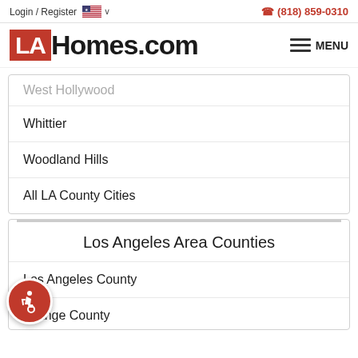Login / Register  🇺🇸 ∨   📞 (818) 859-0310
[Figure (logo): LAHomes.com logo with red LA box and hamburger MENU icon]
West Hollywood
Whittier
Woodland Hills
All LA County Cities
Los Angeles Area Counties
Los Angeles County
Orange County